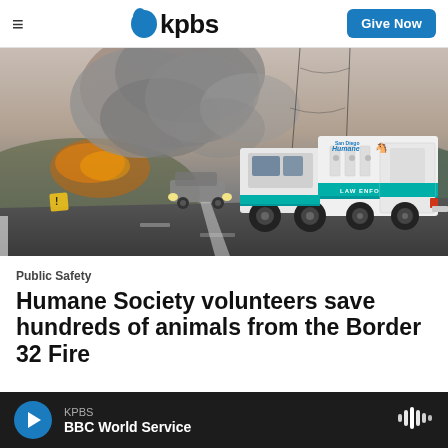≡  kpbs  Give Now
[Figure (photo): A San Diego Humane Society animal enforcement truck driving on a highway with a large wildfire smoke plume visible in the background. Another vehicle is visible ahead on the road. Hills with brush are visible on the right side.]
Public Safety
Humane Society volunteers save hundreds of animals from the Border 32 Fire
KPBS  BBC World Service